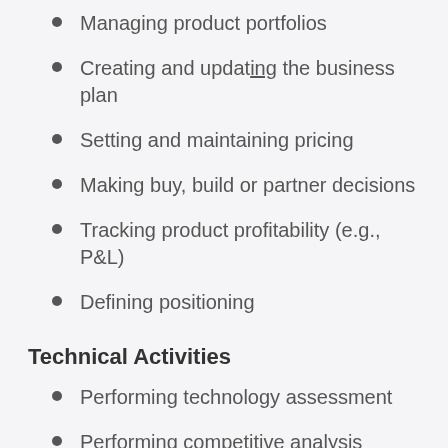Managing product portfolios
Creating and updating the business plan
Setting and maintaining pricing
Making buy, build or partner decisions
Tracking product profitability (e.g., P&L)
Defining positioning
Technical Activities
Performing technology assessment
Performing competitive analysis
Maintaining the roadmap
Managing innovation